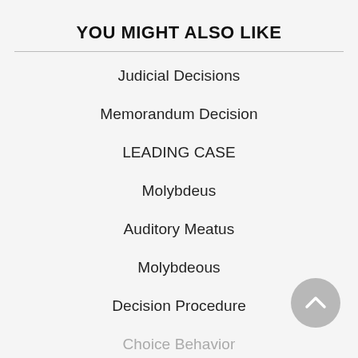YOU MIGHT ALSO LIKE
Judicial Decisions
Memorandum Decision
LEADING CASE
Molybdeus
Auditory Meatus
Molybdeous
Decision Procedure
Choice Behavior
[Figure (other): Back/up navigation button — circular grey button with a chevron/caret pointing upward]